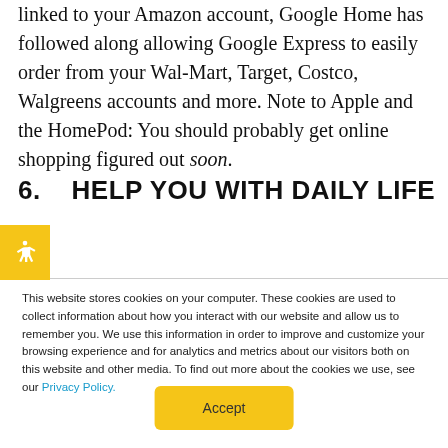linked to your Amazon account, Google Home has followed along allowing Google Express to easily order from your Wal-Mart, Target, Costco, Walgreens accounts and more. Note to Apple and the HomePod: You should probably get online shopping figured out soon.
6.   HELP YOU WITH DAILY LIFE
This website stores cookies on your computer. These cookies are used to collect information about how you interact with our website and allow us to remember you. We use this information in order to improve and customize your browsing experience and for analytics and metrics about our visitors both on this website and other media. To find out more about the cookies we use, see our Privacy Policy.